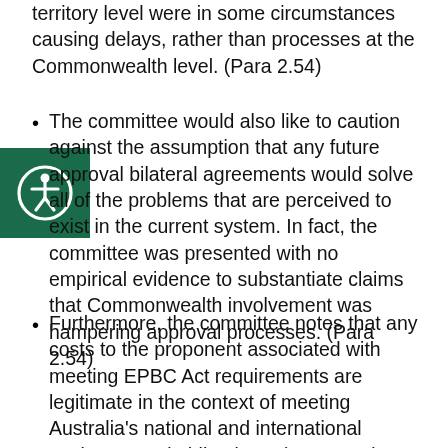territory level were in some circumstances causing delays, rather than processes at the Commonwealth level. (Para 2.54)
The committee would also like to caution against the assumption that any future approval bilateral agreements would solve all of the problems that are perceived to exist in the current system. In fact, the committee was presented with no empirical evidence to substantiate claims that Commonwealth involvement was hampering approval processes. (Para 2.54)
Furthermore, the committee notes that any costs to the proponent associated with meeting EPBC Act requirements are legitimate in the context of meeting Australia's national and international environmental obligations. (Para 2.58)
[Figure (illustration): Accessibility icon: white figure with circular arrows on dark green background]